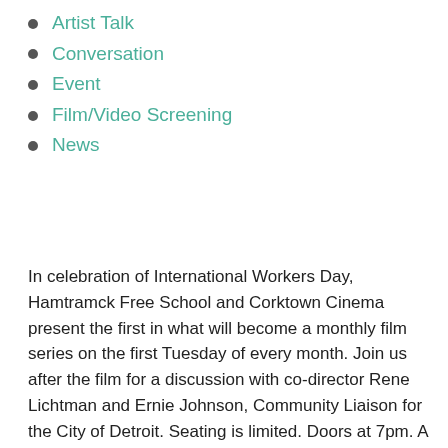Artist Talk
Conversation
Event
Film/Video Screening
News
In celebration of International Workers Day, Hamtramck Free School and Corktown Cinema present the first in what will become a monthly film series on the first Tuesday of every month. Join us after the film for a discussion with co-director Rene Lichtman and Ernie Johnson, Community Liaison for the City of Detroit. Seating is limited. Doors at 7pm. A film by Rene Lichtman, Stewart Bird, and Peter Gessner, (English / 55 minutes / 1970).